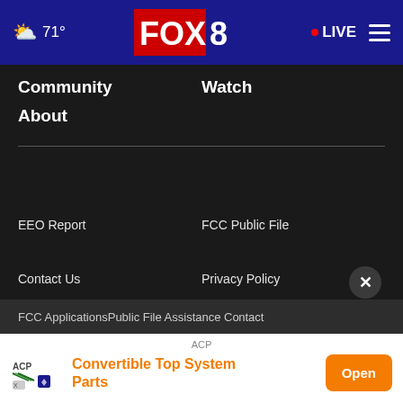FOX 8 | 71° | LIVE
Community
Watch
About
EEO Report
FCC Public File
Contact Us
Privacy Policy
Terms Of Use
Do Not Sell My Personal Information
FCC Applications
Public File Assistance Contact
[Figure (screenshot): ACP advertisement banner: ACP Convertible Top System Parts with Open button]